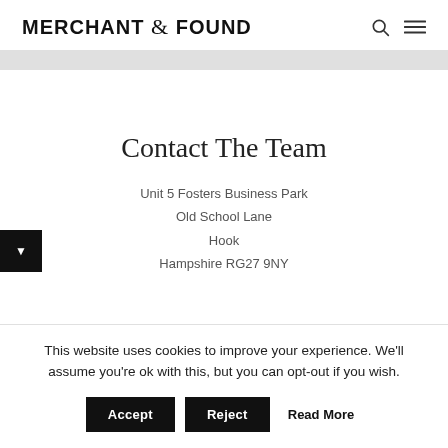MERCHANT & FOUND
Contact The Team
Unit 5 Fosters Business Park
Old School Lane
Hook
Hampshire RG27 9NY
This website uses cookies to improve your experience. We'll assume you're ok with this, but you can opt-out if you wish.